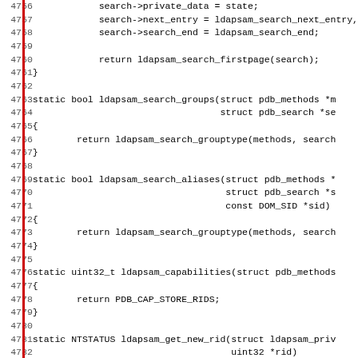[Figure (screenshot): Source code listing showing C functions ldapsam_search_groups, ldapsam_search_aliases, ldapsam_capabilities, and ldapsam_get_new_rid with line numbers 4756-4787]